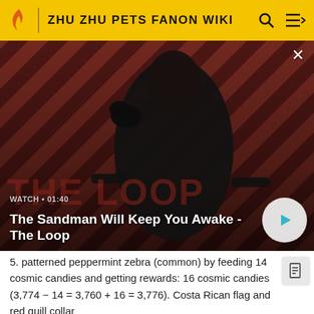ZHU ZHU PETS FANON WIKI
[Figure (screenshot): Video thumbnail showing a dark-clad figure with a raven on shoulder against a red diagonal stripe background. Text overlay: WATCH · 01:40 and title 'The Sandman Will Keep You Awake - The Loop'. White circular play button on right.]
5. patterned peppermint zebra (common) by feeding 14 cosmic candies and getting rewards: 16 cosmic candies (3,774 - 14 = 3,760 + 16 = 3,776). Costa Rican flag and red quill collar
Nutty Nebula 🔵